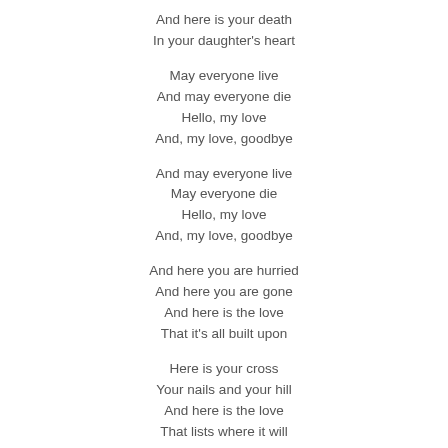And here is your death
In your daughter's heart
May everyone live
And may everyone die
Hello, my love
And, my love, goodbye
And may everyone live
May everyone die
Hello, my love
And, my love, goodbye
And here you are hurried
And here you are gone
And here is the love
That it's all built upon
Here is your cross
Your nails and your hill
And here is the love
That lists where it will
May everyone live